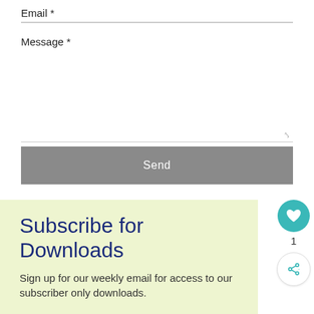Email *
Message *
Send
Subscribe for Downloads
Sign up for our weekly email for access to our subscriber only downloads.